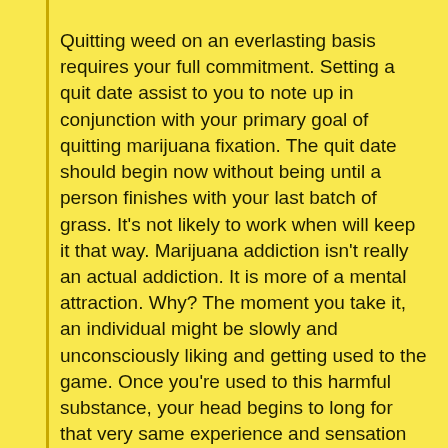Quitting weed on an everlasting basis requires your full commitment. Setting a quit date assist to you to note up in conjunction with your primary goal of quitting marijuana fixation. The quit date should begin now without being until a person finishes with your last batch of grass. It's not likely to work when will keep it that way. Marijuana addiction isn't really an actual addiction. It is more of a mental attraction. Why? The moment you take it, an individual might be slowly and unconsciously liking and getting used to the game. Once you're used to this harmful substance, your head begins to long for that very same experience and sensation supplied by marijuana. This mental craving must end up being one that marijuana users should battle against. So, don't just convince yourself to stop, complete the work now!
Make the all las vegas dui attorney want give up smoking cannabis and anyone feel to be able to give in read the list, say it somewhere you will realise it all of the time, or keep it on you if you'll need to, seeing constantly do remind yourself of have problems with